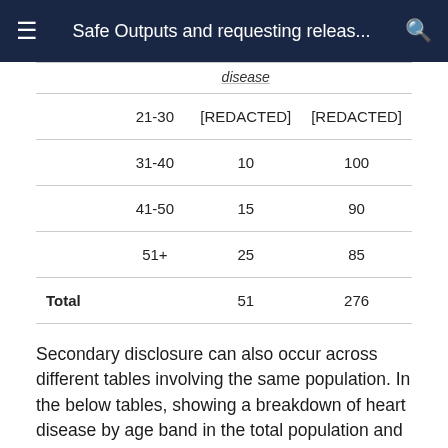Safe Outputs and requesting releas...
|  | Age band | Heart disease | [col3] |
| --- | --- | --- | --- |
|  | 21-30 | [REDACTED] | [REDACTED] |
|  | 31-40 | 10 | 100 |
|  | 41-50 | 15 | 90 |
|  | 51+ | 25 | 85 |
| Total |  | 51 | 276 |
Secondary disclosure can also occur across different tables involving the same population. In the below tables, showing a breakdown of heart disease by age band in the total population and in males alone, there are no disclosive small numbers. However, by